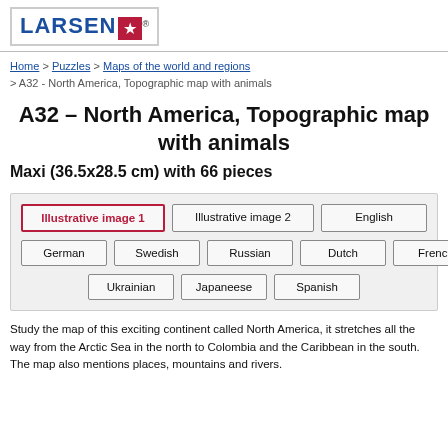LARSEN ★®
Home > Puzzles > Maps of the world and regions > A32 - North America, Topographic map with animals
A32 – North America, Topographic map with animals
Maxi (36.5x28.5 cm) with 66 pieces
[Figure (other): Tab navigation with language/view options: Illustrative image 1 (active, red border), Illustrative image 2, English, German, Swedish, Russian, Dutch, French, Ukrainian, Japaneese, Spanish]
Study the map of this exciting continent called North America, it stretches all the way from the Arctic Sea in the north to Colombia and the Caribbean in the south. The map also mentions places, mountains and rivers.